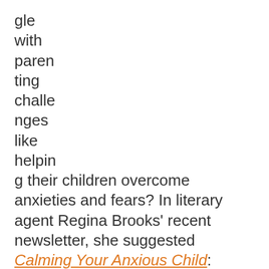gle with paren ting challe nges like helpin g their children overcome anxieties and fears? In literary agent Regina Brooks' recent newsletter, she suggested Calming Your Anxious Child: Words to Say and Things to Do by Dr. Kathleen Trainor. Dr. Trainor's advice helped my younger son get over his fears and become an enthusiastic swimmer! Her